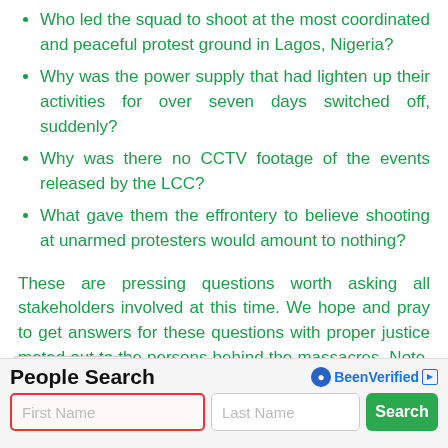Who led the squad to shoot at the most coordinated and peaceful protest ground in Lagos, Nigeria?
Why was the power supply that had lighten up their activities for over seven days switched off, suddenly?
Why was there no CCTV footage of the events released by the LCC?
What gave them the effrontery to believe shooting at unarmed protesters would amount to nothing?
These are pressing questions worth asking all stakeholders involved at this time. We hope and pray to get answers for these questions with proper justice meted out to the persons behind the massacres. Note, I had to write this today because I have been struggling psychologically to go about normal routines every since that news.
[Figure (screenshot): People Search advertisement banner with BeenVerified logo, First Name input field (red border), Last Name input field, and green Search button]